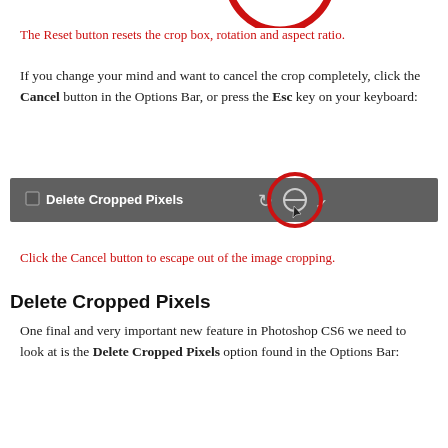[Figure (screenshot): Partial red circle (arc) at top of page — top portion of a circled Reset button icon]
The Reset button resets the crop box, rotation and aspect ratio.
If you change your mind and want to cancel the crop completely, click the Cancel button in the Options Bar, or press the Esc key on your keyboard:
[Figure (screenshot): Screenshot of Photoshop Options Bar showing 'Delete Cropped Pixels' checkbox and toolbar icons, with a red circle highlighting the Cancel (no-entry) button icon and a cursor arrow pointing to it.]
Click the Cancel button to escape out of the image cropping.
Delete Cropped Pixels
One final and very important new feature in Photoshop CS6 we need to look at is the Delete Cropped Pixels option found in the Options Bar: